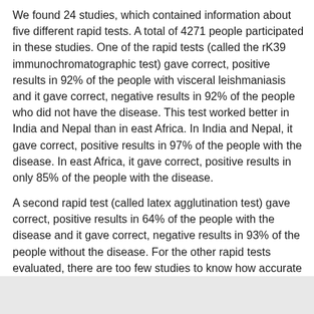We found 24 studies, which contained information about five different rapid tests. A total of 4271 people participated in these studies. One of the rapid tests (called the rK39 immunochromatographic test) gave correct, positive results in 92% of the people with visceral leishmaniasis and it gave correct, negative results in 92% of the people who did not have the disease. This test worked better in India and Nepal than in east Africa. In India and Nepal, it gave correct, positive results in 97% of the people with the disease. In east Africa, it gave correct, positive results in only 85% of the people with the disease.
A second rapid test (called latex agglutination test) gave correct, positive results in 64% of the people with the disease and it gave correct, negative results in 93% of the people without the disease. For the other rapid tests evaluated, there are too few studies to know how accurate they are.